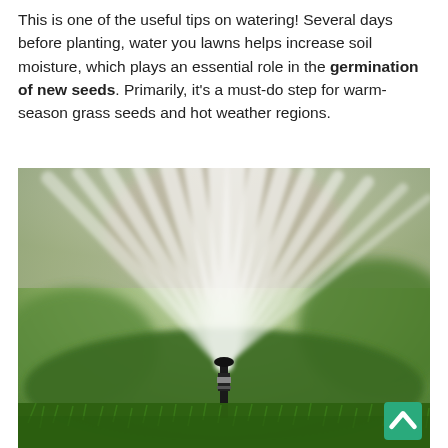This is one of the useful tips on watering! Several days before planting, water you lawns helps increase soil moisture, which plays an essential role in the germination of new seeds. Primarily, it's a must-do step for warm-season grass seeds and hot weather regions.
[Figure (photo): A lawn sprinkler head spraying water in a fan pattern over green grass, with a blurred green background.]